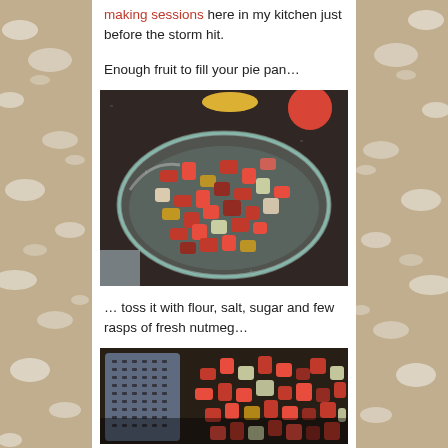making sessions here in my kitchen just before the storm hit.
Enough fruit to fill your pie pan…
[Figure (photo): Glass pie pan filled with chopped rhubarb and strawberry pieces on a dark granite countertop, with whole red fruits visible in the background.]
… toss it with flour, salt, sugar and few rasps of fresh nutmeg…
[Figure (photo): Close-up of a grater/microplane next to chopped rhubarb and strawberry pieces on a dark surface.]